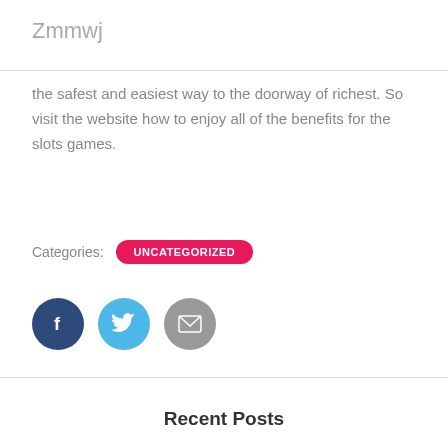Zmmwj
the safest and easiest way to the doorway of richest. So visit the website how to enjoy all of the benefits for the slots games.
Categories: UNCATEGORIZED
[Figure (infographic): Three social share buttons: Facebook (dark blue circle with 'f'), Twitter (light blue circle with bird icon), Email (gray circle with envelope icon)]
Recent Posts